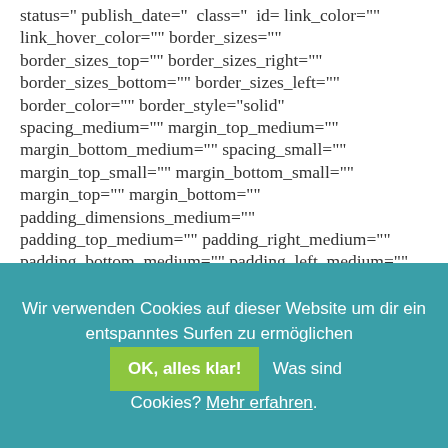status=" publish_date="  class="  id= link_color="" link_hover_color="" border_sizes="" border_sizes_top="" border_sizes_right="" border_sizes_bottom="" border_sizes_left="" border_color="" border_style="solid" spacing_medium="" margin_top_medium="" margin_bottom_medium="" spacing_small="" margin_top_small="" margin_bottom_small="" margin_top="" margin_bottom="" padding_dimensions_medium="" padding_top_medium="" padding_right_medium="" padding_bottom_medium="" padding_left_medium="" padding_dimensions_small="" padding_top_small="" padding_right_small="" padding_bottom_small="" padding_left_small="" padding_top=""
Wir verwenden Cookies auf dieser Website um dir ein entspanntes Surfen zu ermöglichen  OK, alles klar!  Was sind Cookies? Mehr erfahren.